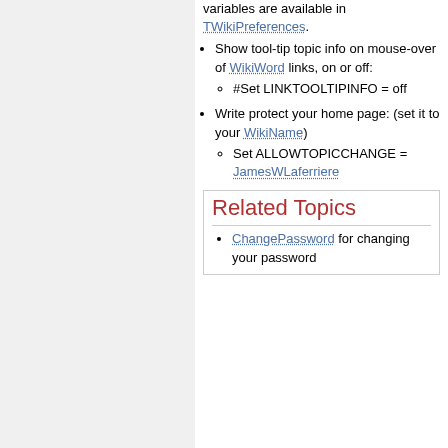variables are available in TWikiPreferences.
Show tool-tip topic info on mouse-over of WikiWord links, on or off:
#Set LINKTOOLTIPINFO = off
Write protect your home page: (set it to your WikiName)
Set ALLOWTOPICCHANGE = JamesWLaferriere
Related Topics
ChangePassword for changing your password